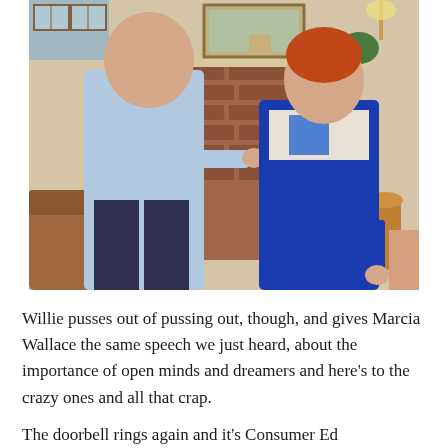[Figure (photo): A man in a light blue shirt and dark trousers gestures while talking to a woman in a bright blue blazer suit with curly red hair, standing in a living room set with a brick fireplace, a framed painting, a clock, and plants on the mantle.]
Willie pusses out of pussing out, though, and gives Marcia Wallace the same speech we just heard, about the importance of open minds and dreamers and here’s to the crazy ones and all that crap.
The doorbell rings again and it’s Consumer Ed